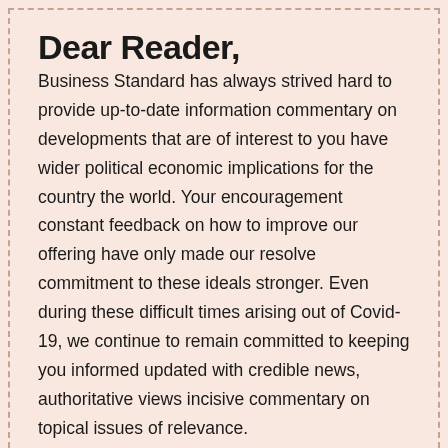Dear Reader,
Business Standard has always strived hard to provide up-to-date information commentary on developments that are of interest to you have wider political economic implications for the country the world. Your encouragement constant feedback on how to improve our offering have only made our resolve commitment to these ideals stronger. Even during these difficult times arising out of Covid-19, we continue to remain committed to keeping you informed updated with credible news, authoritative views incisive commentary on topical issues of relevance.
We, however, have a request.
As we battle the economic impact of the pandemic, we need your support even more, so that we can